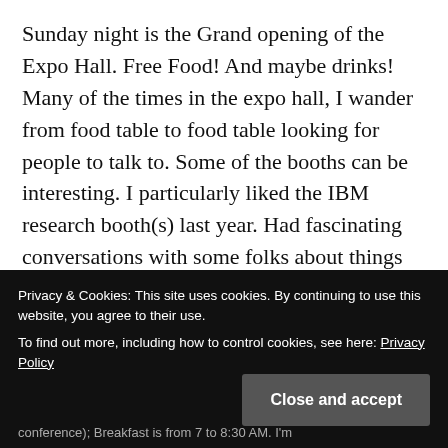Sunday night is the Grand opening of the Expo Hall. Free Food! And maybe drinks! Many of the times in the expo hall, I wander from food table to food table looking for people to talk to. Some of the booths can be interesting. I particularly liked the IBM research booth(s) last year. Had fascinating conversations with some folks about things they're trying with using GPU-like processing to handle operations that might benefit from it like sorting.
Privacy & Cookies: This site uses cookies. By continuing to use this website, you agree to their use.
To find out more, including how to control cookies, see here: Privacy Policy
Close and accept
conference); Breakfast is from 7 to 8:30 AM. I'm